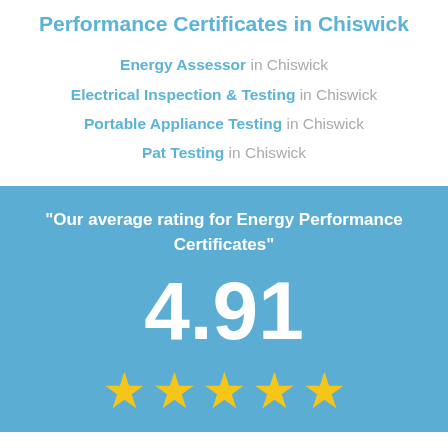Performance Certificates in Chiswick
Energy Assessor in Chiswick
Electrical Inspection & Testing in Chiswick
Portable Appliance Testing in Chiswick
Pat Testing in Chiswick
"Our average rating for Energy Performance Certificates"
4.91
[Figure (infographic): Five gold stars rating display]